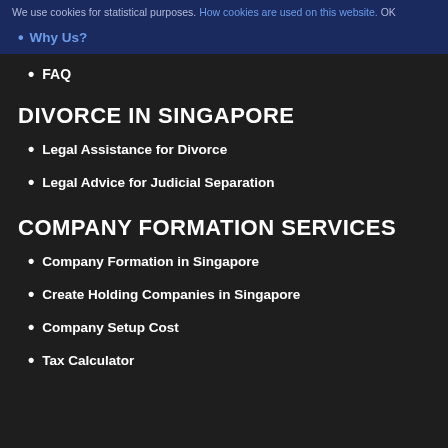We use cookies for statistical purposes. How cookies are used on this website. OK
Why Us?
FAQ
DIVORCE IN SINGAPORE
Legal Assistance for Divorce
Legal Advice for Judicial Separation
COMPANY FORMATION SERVICES
Company Formation in Singapore
Create Holding Companies in Singapore
Company Setup Cost
Tax Calculator